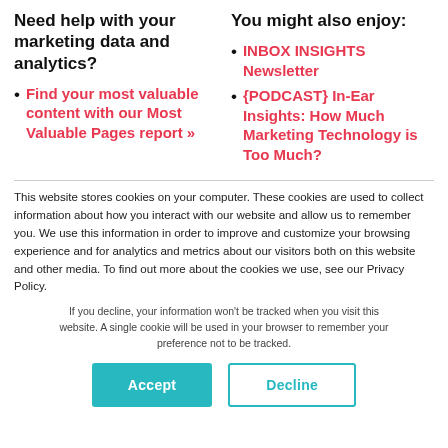Need help with your marketing data and analytics?
You might also enjoy:
Find your most valuable content with our Most Valuable Pages report »
INBOX INSIGHTS Newsletter
{PODCAST} In-Ear Insights: How Much Marketing Technology is Too Much?
This website stores cookies on your computer. These cookies are used to collect information about how you interact with our website and allow us to remember you. We use this information in order to improve and customize your browsing experience and for analytics and metrics about our visitors both on this website and other media. To find out more about the cookies we use, see our Privacy Policy.
If you decline, your information won't be tracked when you visit this website. A single cookie will be used in your browser to remember your preference not to be tracked.